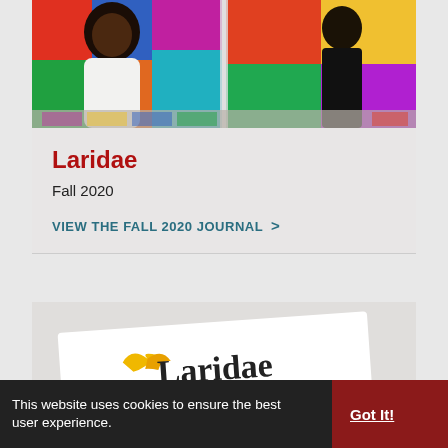[Figure (photo): Two people standing in front of a colorful mural/artwork display. Left: a woman in a white shirt with curly hair. Right: a person in a black graphic t-shirt.]
Laridae
Fall 2020
VIEW THE FALL 2020 JOURNAL >
[Figure (logo): Laridae logo with a stylized yellow bird/seagull and the word 'Laridae' in dark text on a white card, shown at an angle on a grey background.]
This website uses cookies to ensure the best user experience.
Got It!